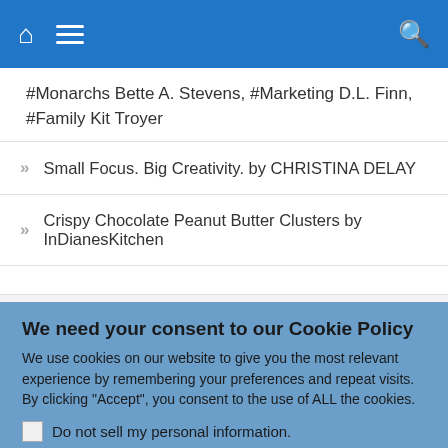Navigation bar with home, menu, and search icons
#Monarchs Bette A. Stevens, #Marketing D.L. Finn, #Family Kit Troyer
Small Focus. Big Creativity. by CHRISTINA DELAY
Crispy Chocolate Peanut Butter Clusters by InDianesKitchen
ARCHIVES
We need your consent to our Cookie Policy
We use cookies on our website to give you the most relevant experience by remembering your preferences and repeat visits. By clicking "Accept", you consent to the use of ALL the cookies.
Do not sell my personal information.
Cookie Settings   Accept